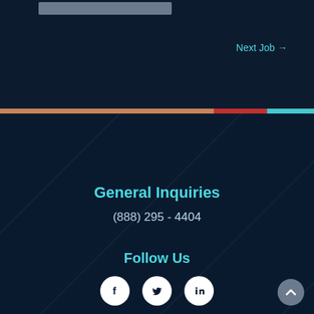Next Job →
General Inquiries
(888) 295 - 4404
Follow Us
[Figure (illustration): Social media icons: Facebook, Twitter, LinkedIn in white circles]
[Figure (illustration): Scroll-to-top button with upward chevron]